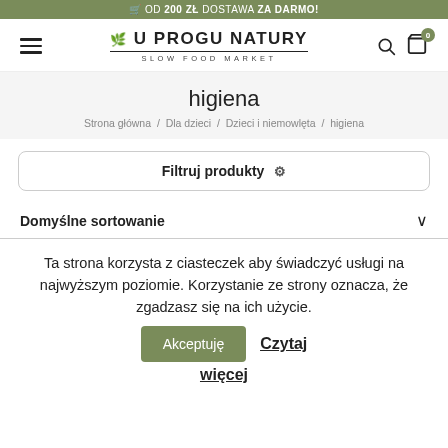OD 200 ZL DOSTAWA ZA DARMO!
[Figure (logo): U Progu Natury - Slow Food Market logo with hamburger menu, search and cart icons]
higiena
Strona główna / Dla dzieci / Dzieci i niemowlęta / higiena
Filtruj produkty
Domyślne sortowanie
Ta strona korzysta z ciasteczek aby świadczyć usługi na najwyższym poziomie. Korzystanie ze strony oznacza, że zgadzasz się na ich użycie. Akceptuję Czytaj więcej